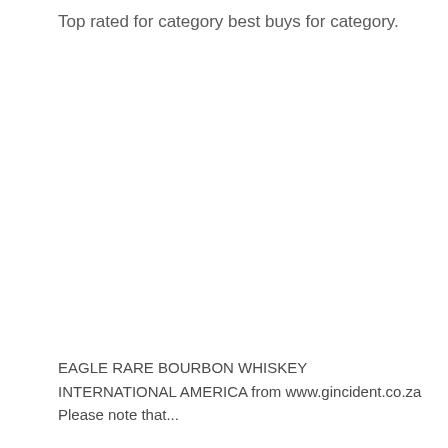Top rated for category best buys for category.
EAGLE RARE BOURBON WHISKEY INTERNATIONAL AMERICA from www.gincident.co.za
Please note that...